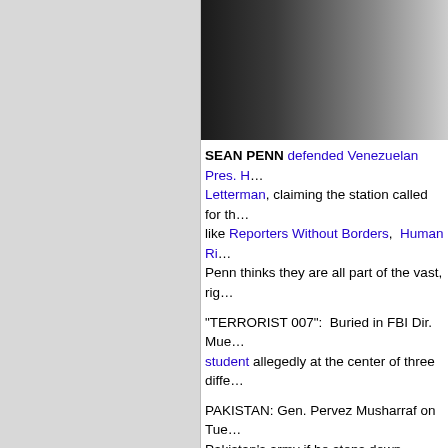[Figure (photo): Top photo showing a person in dark clothing against a light background, partially visible]
SEAN PENN defended Venezuelan Pres. H... Letterman, claiming the station called for th... like Reporters Without Borders, Human Ri... Penn thinks they are all part of the vast, rig...
"TERRORIST 007": Buried in FBI Dir. Mue... student allegedly at the center of three diffe...
PAKISTAN: Gen. Pervez Musharraf on Tue... Pakistan's army if he steps down following ... educated Lt. Gen. Ashfaq Kiani is widely co...
IRAQ: The ruling Shiites are opposing arm... Sunnis into the national police force. But if... follow the money. Iraqi interior ministry con... operating in northern Babil province's "Tria... with US Special Forces as advisers, detain... driven raid in Sharkat.
IOWA's STATE FAIR may drop KGGO's ere...
[Figure (photo): Bottom photo showing a green background with what appears to be a wooden cabinet or furniture piece on the left]